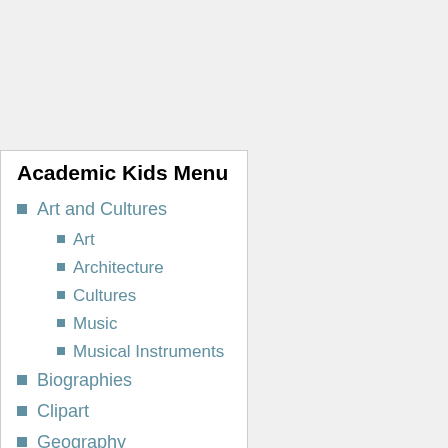Academic Kids Menu
Art and Cultures
Art
Architecture
Cultures
Music
Musical Instruments
Biographies
Clipart
Geography
Countries of the